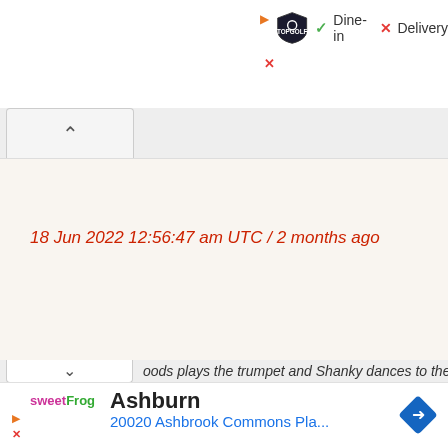[Figure (screenshot): Top ad bar showing TopGolf logo with play button, Dine-in (checkmark) and Delivery (X) labels, and a close X button]
[Figure (screenshot): Collapsed UI section with an up-caret (chevron) button on the left side]
18 Jun 2022 12:56:47 am UTC / 2 months ago
oods plays the trumpet and Shanky dances to the
[Figure (screenshot): Bottom advertisement showing sweetFrog logo, Ashburn location, address 20020 Ashbrook Commons Pla..., navigation diamond icon, with play and X buttons]